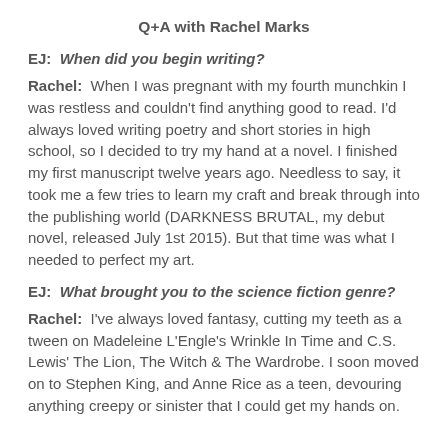Q+A with Rachel Marks
EJ:  When did you begin writing?
Rachel:  When I was pregnant with my fourth munchkin I was restless and couldn't find anything good to read. I'd always loved writing poetry and short stories in high school, so I decided to try my hand at a novel. I finished my first manuscript twelve years ago. Needless to say, it took me a few tries to learn my craft and break through into the publishing world (DARKNESS BRUTAL, my debut novel, released July 1st 2015). But that time was what I needed to perfect my art.
EJ:  What brought you to the science fiction genre?
Rachel:  I've always loved fantasy, cutting my teeth as a tween on Madeleine L'Engle's Wrinkle In Time and C.S. Lewis' The Lion, The Witch & The Wardrobe. I soon moved on to Stephen King, and Anne Rice as a teen, devouring anything creepy or sinister that I could get my hands on.